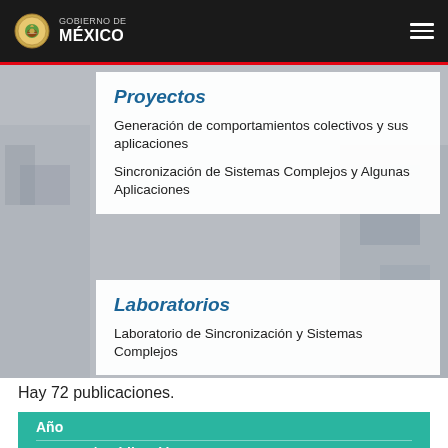GOBIERNO DE MÉXICO
Proyectos
Generación de comportamientos colectivos y sus aplicaciones
Sincronización de Sistemas Complejos y Algunas Aplicaciones
Laboratorios
Laboratorio de Sincronización y Sistemas Complejos
Hay 72 publicaciones.
| Año | Autores / Publicación |
| --- | --- |